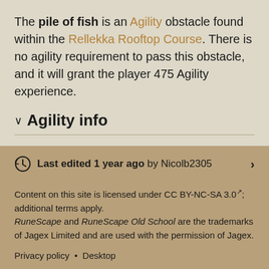The pile of fish is an Agility obstacle found within the Rellekka Rooftop Course. There is no agility requirement to pass this obstacle, and it will grant the player 475 Agility experience.
Agility info
Last edited 1 year ago by Nicolb2305
Content on this site is licensed under CC BY-NC-SA 3.0; additional terms apply. RuneScape and RuneScape Old School are the trademarks of Jagex Limited and are used with the permission of Jagex.
Privacy policy • Desktop